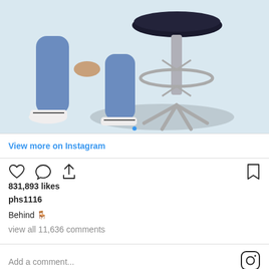[Figure (photo): Person in jeans and white sneakers crouching beside a metal bar stool with a black padded seat, against a white background with shadows.]
View more on Instagram
[Figure (infographic): Instagram action icons: heart (like), comment bubble, share/upload arrow on the left; bookmark icon on the right.]
831,893 likes
phs1116
Behind 🪑
view all 11,636 comments
Add a comment...
[Figure (logo): Instagram camera logo icon]